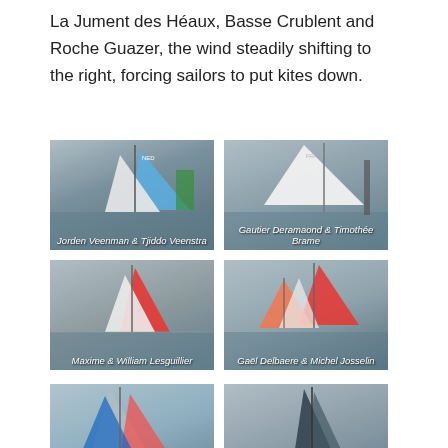La Jument des Héaux, Basse Crublent and Roche Guazer, the wind steadily shifting to the right, forcing sailors to put kites down.
[Figure (photo): Sailing boat with blue and white sails on grey water, caption: Jorden Veenman & Tjiddo Veenstra]
[Figure (photo): Sailing boat with large white spinnaker on grey water, caption: Gautier Deramaond & Timothée Brame]
[Figure (photo): Sailing boat with red and white sails on grey water, caption: Maxime & William Lesguillier]
[Figure (photo): Sailing boats with red and orange sails on grey water, caption: Gaël Delbaere & Michel Josselin]
[Figure (photo): Sailing boat with colourful sails, partially visible at bottom]
[Figure (photo): Sailing boat with dark sails, partially visible at bottom]